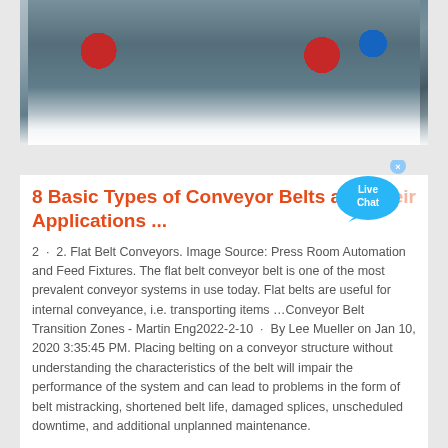[Figure (photo): Industrial machinery photograph showing large conveyor or crusher equipment with red circular pulleys/wheels, blue motor, metal frame structure, white/grey body on light background]
8 Basic Types of Conveyor Belts and Their Applications ...
2 · 2. Flat Belt Conveyors. Image Source: Press Room Automation and Feed Fixtures. The flat belt conveyor belt is one of the most prevalent conveyor systems in use today. Flat belts are useful for internal conveyance, i.e. transporting items …Conveyor Belt Transition Zones - Martin Eng2022-2-10 · By Lee Mueller on Jan 10, 2020 3:35:45 PM. Placing belting on a conveyor structure without understanding the characteristics of the belt will impair the performance of the system and can lead to problems in the form of belt mistracking, shortened belt life, damaged splices, unscheduled downtime, and additional unplanned maintenance.